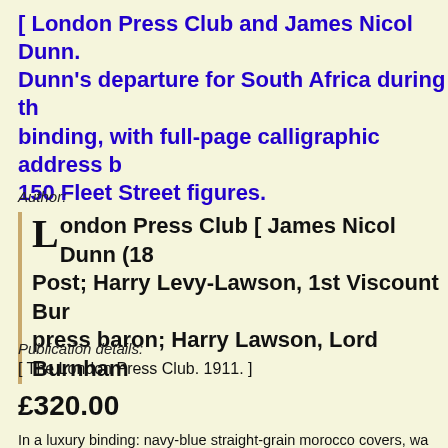[ London Press Club and James Nicol Dunn. Dunn's departure for South Africa during th binding, with full-page calligraphic address b 150 Fleet Street figures.
Author:
London Press Club [ James Nicol Dunn (18 Post; Harry Levy-Lawson, 1st Viscount Bur press baron; Harry Lawson, Lord Burnham
Publication details:
[ The London Press Club. 1911. ]
£320.00
In a luxury binding: navy-blue straight-grain morocco covers, wa leather hinges. Initial calligraphic address by 'L.J.S.' mounted in c (numbering in excess of 150), on the rectos of 14 pieces of gilt-ec to corners and at head and tail of spine.